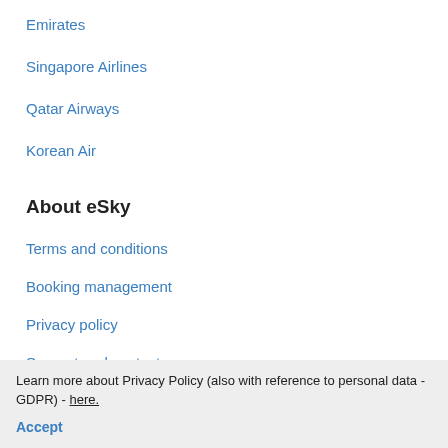Emirates
Singapore Airlines
Qatar Airways
Korean Air
About eSky
Terms and conditions
Booking management
Privacy policy
Support and contact
Cheap flights to United Arab Emirates
Cheap flights to South Africa
Cheap flights from South Africa
Learn more about Privacy Policy (also with reference to personal data - GDPR) - here.
Accept